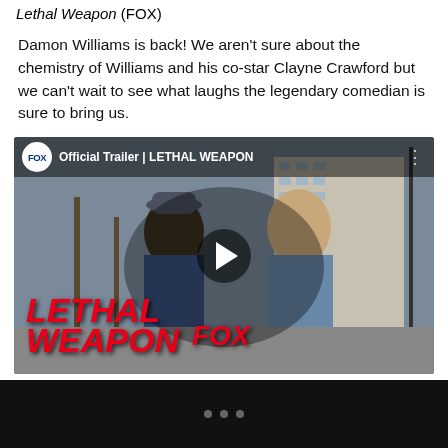Lethal Weapon (FOX)
Damon Williams is back! We aren't sure about the chemistry of Williams and his co-star Clayne Crawford but we can't wait to see what laughs the legendary comedian is sure to bring us.
[Figure (screenshot): YouTube video embed showing FOX Official Trailer for LETHAL WEAPON, with two men facing each other outdoors. Red LETHAL WEAPON and FOX logos at bottom. Play button in center.]
• • •